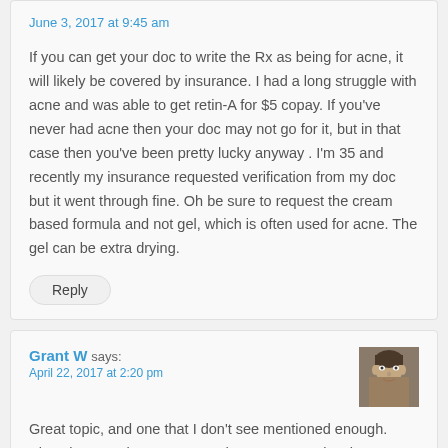June 3, 2017 at 9:45 am
If you can get your doc to write the Rx as being for acne, it will likely be covered by insurance. I had a long struggle with acne and was able to get retin-A for $5 copay. If you've never had acne then your doc may not go for it, but in that case then you've been pretty lucky anyway . I'm 35 and recently my insurance requested verification from my doc but it went through fine. Oh be sure to request the cream based formula and not gel, which is often used for acne. The gel can be extra drying.
Reply
Grant W says:
April 22, 2017 at 2:20 pm
Great topic, and one that I don't see mentioned enough. Also, the over-the-counter products seem to give the impression that as they contain Retinol that they are Retin A, which isn't quite the same.